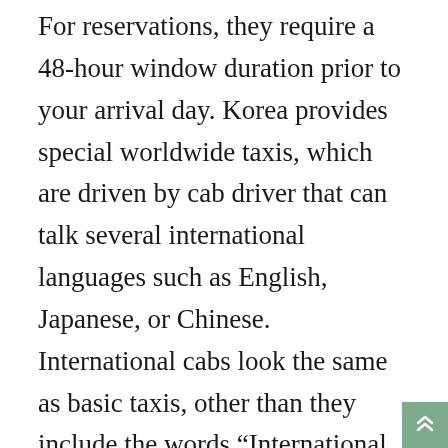For reservations, they require a 48-hour window duration prior to your arrival day. Korea provides special worldwide taxis, which are driven by cab driver that can talk several international languages such as English, Japanese, or Chinese. International cabs look the same as basic taxis, other than they include the words “International Taxi” on the body as well as top of the auto. Called “version taxi” in Oriental, deluxe taxis are black with a yellow sign on the top. They offer slightly much more guest space and also a greater requirement of service than normal taxis. This suggests that the basic fare and also the price for extra range are higher than routine taxis, yet there is no late-night